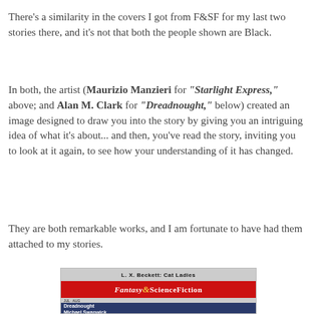There's a similarity in the covers I got from F&SF for my last two stories there, and it's not that both the people shown are Black.
In both, the artist (Maurizio Manzieri for "Starlight Express," above; and Alan M. Clark for "Dreadnought," below) created an image designed to draw you into the story by giving you an intriguing idea of what it's about... and then, you've read the story, inviting you to look at it again, to see how your understanding of it has changed.
They are both remarkable works, and I am fortunate to have had them attached to my stories.
[Figure (photo): Cover of The Magazine of Fantasy & Science Fiction showing title and story listing including 'Dreadnought' by Michael Swanwick, with text 'L. X. Beckett: Cat Ladies' at top]